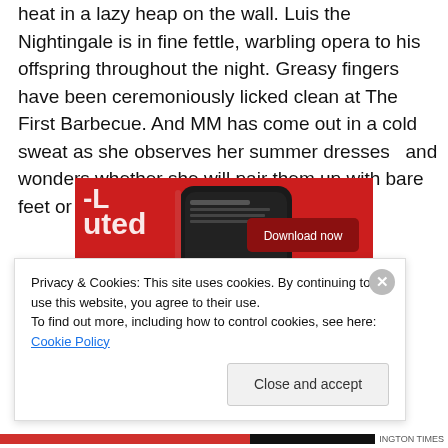heat in a lazy heap on the wall. Luis the Nightingale is in fine fettle, warbling opera to his offspring throughout the night. Greasy fingers have been ceremoniously licked clean at The First Barbecue. And MM has come out in a cold sweat as she observes her summer dresses  and wonders whether she will pair them up with bare feet or a pair of trainers.
[Figure (screenshot): A smartphone with a red case displaying a podcast/audio app interface, on a red background, with a 'Download now' button overlay in dark red.]
Privacy & Cookies: This site uses cookies. By continuing to use this website, you agree to their use.
To find out more, including how to control cookies, see here: Cookie Policy
Close and accept